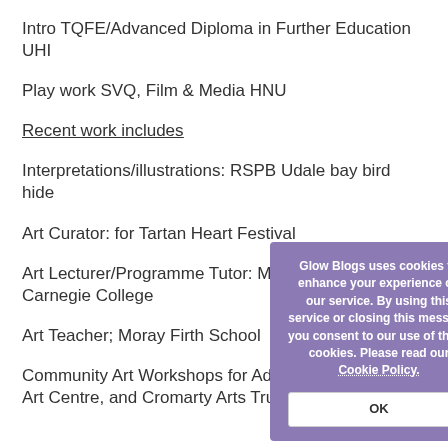Intro TQFE/Advanced Diploma in Further Education UHI
Play work SVQ, Film & Media HNU
Recent work includes
Interpretations/illustrations: RSPB Udale bay bird hide
Art Curator: for Tartan Heart Festival
Art Lecturer/Programme Tutor: Motherwell and Carnegie College
Art Teacher; Moray Firth School
Community Art Workshops for Adult Learners, Moray Art Centre, and Cromarty Arts Trust
[Figure (screenshot): Cookie consent popup overlay with purple background. Text: 'Glow Blogs uses cookies to enhance your experience on our service. By using this service or closing this message you consent to our use of those cookies. Please read our Cookie Policy.' with an OK button.]